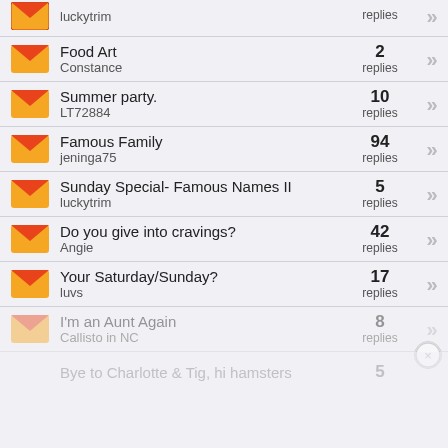luckytrim | replies
Food Art | Constance | 2 replies
Summer party. | LT72884 | 10 replies
Famous Family | jeninga75 | 94 replies
Sunday Special- Famous Names II | luckytrim | 5 replies
Do you give into cravings? | Angie | 42 replies
Your Saturday/Sunday? | luvs | 17 replies
I'm an Aunt Again | Callisto in NC | 8 replies
Bye to Charlotte & Tig, hi hamsters | 5